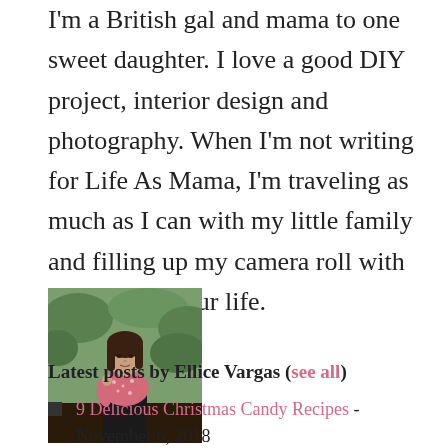I'm a British gal and mama to one sweet daughter. I love a good DIY project, interior design and photography. When I'm not writing for Life As Mama, I'm traveling as much as I can with my little family and filling up my camera roll with snapshots of our life.
[Figure (photo): Portrait photo of Ellice Vargas, a young woman with long dark hair wearing a pink floral top, standing outdoors with greenery in the background.]
Latest posts by Ellice Vargas (see all)
9 Delicious Christmas Candy Recipes - November 6, 2018